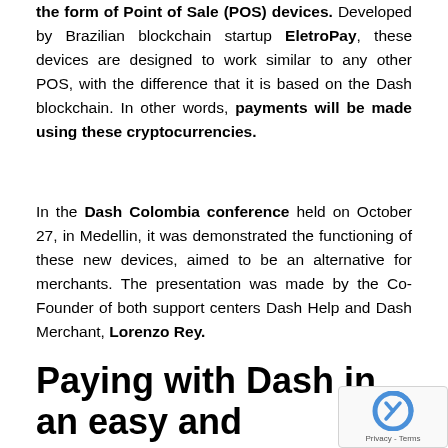the form of Point of Sale (POS) devices. Developed by Brazilian blockchain startup EletroPay, these devices are designed to work similar to any other POS, with the difference that it is based on the Dash blockchain. In other words, payments will be made using these cryptocurrencies.
In the Dash Colombia conference held on October 27, in Medellin, it was demonstrated the functioning of these new devices, aimed to be an alternative for merchants. The presentation was made by the Co-Founder of both support centers Dash Help and Dash Merchant, Lorenzo Rey.
Paying with Dash in an easy and convenient way
In an almost 2-minute long video uploaded to the YouTube platform, Lorenzo is shown explaining the functioning